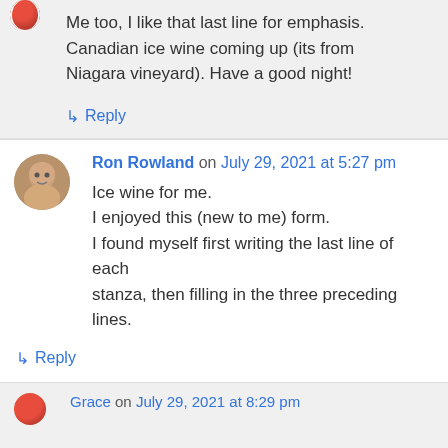Me too, I like that last line for emphasis. Canadian ice wine coming up (its from Niagara vineyard). Have a good night!
↳ Reply
Ron Rowland on July 29, 2021 at 5:27 pm
Ice wine for me.
I enjoyed this (new to me) form.
I found myself first writing the last line of each stanza, then filling in the three preceding lines.
↳ Reply
Grace on July 29, 2021 at 8:29 pm